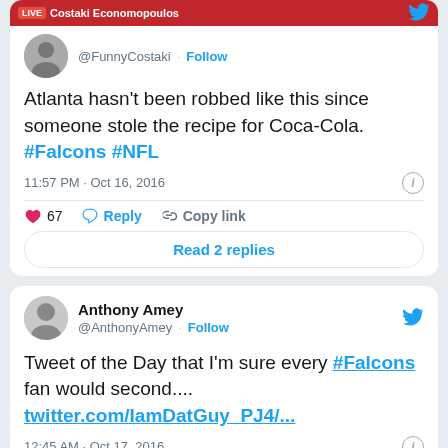[Figure (screenshot): Tweet from @FunnyCostaki (Costaki Economopoulos) saying: Atlanta hasn't been robbed like this since someone stole the recipe for Coca-Cola. #Falcons #NFL. 11:57 PM · Oct 16, 2016. 67 likes.]
[Figure (screenshot): Tweet from @AnthonyAmey (Anthony Amey) saying: Tweet of the Day that I'm sure every #Falcons fan would second.... twitter.com/IamDatGuy_PJ4/... 12:45 AM · Oct 17, 2016.]